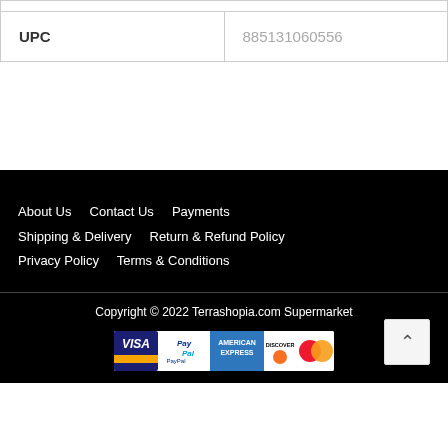| UPC | 885131060556 |
About Us   Contact Us   Payments
Shipping & Delivery   Return & Refund Policy
Privacy Policy   Terms & Conditions
Copyright © 2022 Terrashopia.com Supermarket
[Figure (other): Payment method logos: Visa, PayPal, American Express, Discover, MasterCard]